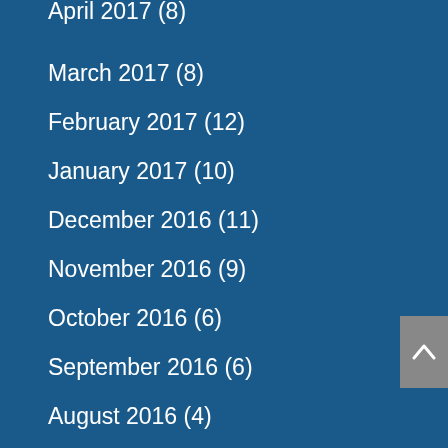April 2017 (8)
March 2017 (8)
February 2017 (12)
January 2017 (10)
December 2016 (11)
November 2016 (9)
October 2016 (6)
September 2016 (6)
August 2016 (4)
July 2016 (5)
June 2016 (5)
May 2016 (3)